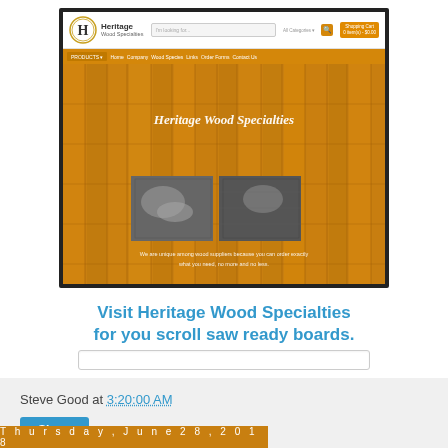[Figure (screenshot): Screenshot of Heritage Wood Specialties website homepage showing logo, navigation bar in orange, wood-textured hero image with title 'Heritage Wood Specialties', descriptive text, two black and white photos of woodworking, and tagline text at bottom.]
Visit Heritage Wood Specialties for you scroll saw ready boards.
Steve Good at 3:20:00 AM
Share
Thursday, June 28, 2018